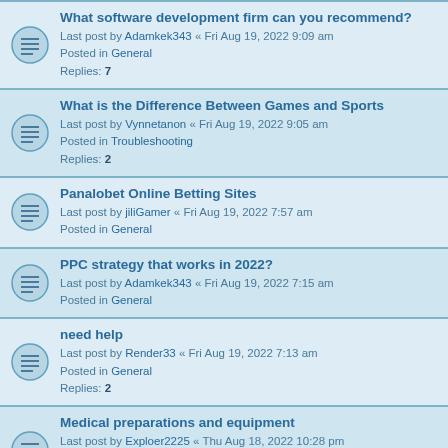What software development firm can you recommend?
Last post by Adamkek343 « Fri Aug 19, 2022 9:09 am
Posted in General
Replies: 7
What is the Difference Between Games and Sports
Last post by Vynnetanon « Fri Aug 19, 2022 9:05 am
Posted in Troubleshooting
Replies: 2
Panalobet Online Betting Sites
Last post by jiliGamer « Fri Aug 19, 2022 7:57 am
Posted in General
PPC strategy that works in 2022?
Last post by Adamkek343 « Fri Aug 19, 2022 7:15 am
Posted in General
need help
Last post by Render33 « Fri Aug 19, 2022 7:13 am
Posted in General
Replies: 2
Medical preparations and equipment
Last post by Exploer2225 « Thu Aug 18, 2022 10:28 pm
Posted in General
Replies: 1
What nail design will be fashionable this fall?
Last post by Ytist « Thu Aug 18, 2022 10:27 pm
Posted in General
Replies: 3
What genre of games do you like?
Last post by Gavi « Thu Aug 18, 2022 9:20 pm
Posted in General